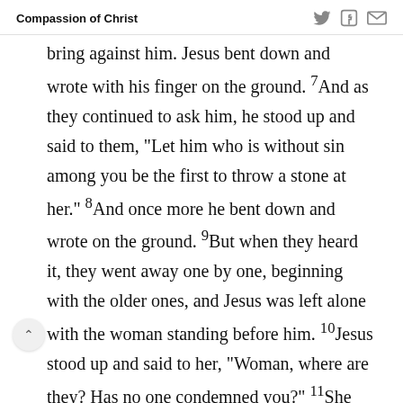Compassion of Christ
bring against him. Jesus bent down and wrote with his finger on the ground. 7And as they continued to ask him, he stood up and said to them, “Let him who is without sin among you be the first to throw a stone at her.” 8And once more he bent down and wrote on the ground. 9But when they heard it, they went away one by one, beginning with the older ones, and Jesus was left alone with the woman standing before him. 10Jesus stood up and said to her, “Woman, where are they? Has no one condemned you?” 11She said, “No one, Lord.” And